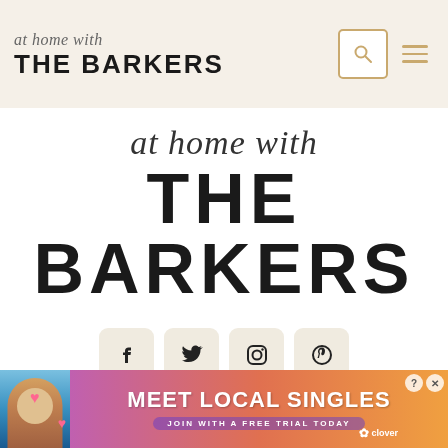at home with THE BARKERS
at home with
THE BARKERS
[Figure (other): Social media icons: Facebook, Twitter, Instagram, Pinterest in rounded square buttons]
HOME   BLOG   ABOUT
[Figure (infographic): Advertisement banner: MEET LOCAL SINGLES - JOIN WITH A FREE TRIAL TODAY - clover app]